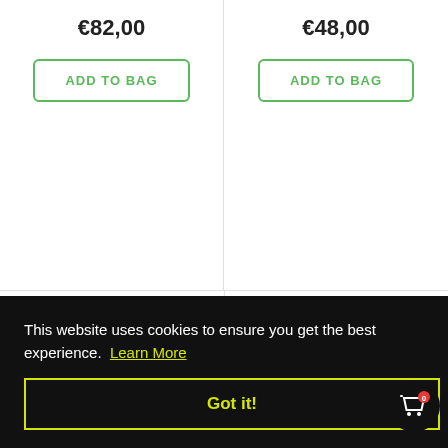€82,00
€48,00
ADD TO BAG
ADD TO BAG
[Figure (photo): Two white supplement bottles with blue and gold labels reading LOUDWOLF POTASSIUM HYDROXIDE]
[Figure (photo): Four purple Nuun electrolyte tablet tubes with yellow and blue accents]
This website uses cookies to ensure you get the best experience.  Learn More
Got it!
ADD TO BAG
ADD TO BAG